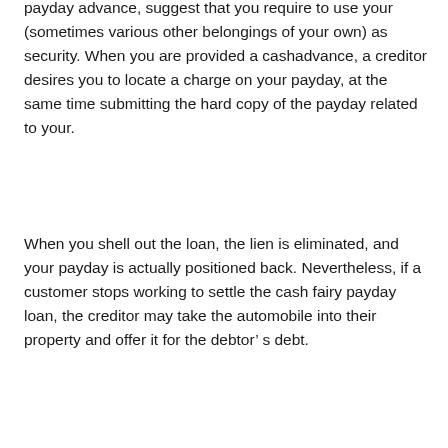payday advance, suggest that you require to use your (sometimes various other belongings of your own) as security. When you are provided a cashadvance, a creditor desires you to locate a charge on your payday, at the same time submitting the hard copy of the payday related to your.
When you shell out the loan, the lien is eliminated, and your payday is actually positioned back. Nevertheless, if a customer stops working to settle the cash fairy payday loan, the creditor may take the automobile into their property and offer it for the debtor’ s debt.